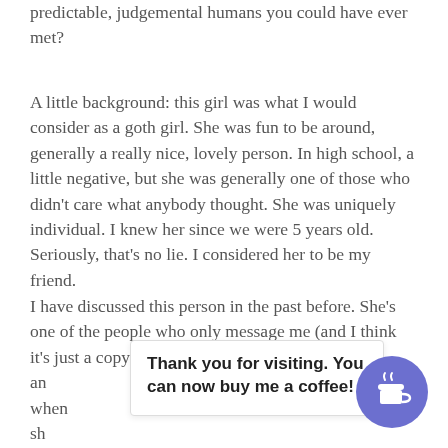predictable, judgemental humans you could have ever met?
A little background: this girl was what I would consider as a goth girl. She was fun to be around, generally a really nice, lovely person. In high school, a little negative, but she was generally one of those who didn't care what anybody thought. She was uniquely individual. I knew her since we were 5 years old. Seriously, that's no lie. I considered her to be my friend.
I have discussed this person in the past before. She's one of the people who only message me (and I think it's just a copy and [paste from a template on friends list) when she [messaged me... was a request t[o...                                 00... son could have a birthday party.
[Figure (other): Popup overlay with text 'Thank you for visiting. You can now buy me a coffee!' and a circular purple coffee cup button]